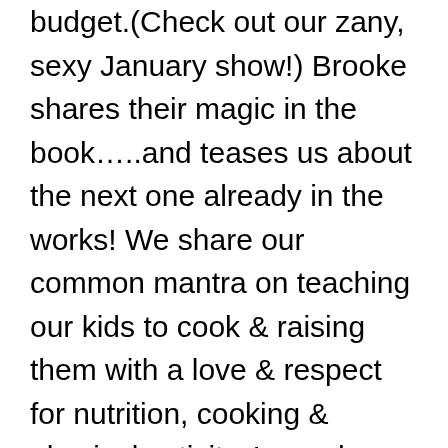budget.(Check out our zany, sexy January show!) Brooke shares their magic in the book…..and teases us about the next one already in the works! We share our common mantra on teaching our kids to cook & raising them with a love & respect for nutrition, cooking & physical activity. Learn how making supper can actually be a cozy highlight of our day! And check out that great photo on their home page – every lady's fantasy! We will also be joined by Jordan Michaels of Ringadoc.com – access medical care anywhere any time – like having a doctor in your pocket! 1-888-474-6423. And as always…so much thanks to the great sponsor of Eat Exercise Live The Hair Club. Hair Club® is the leader in hair restoration, offering all proven